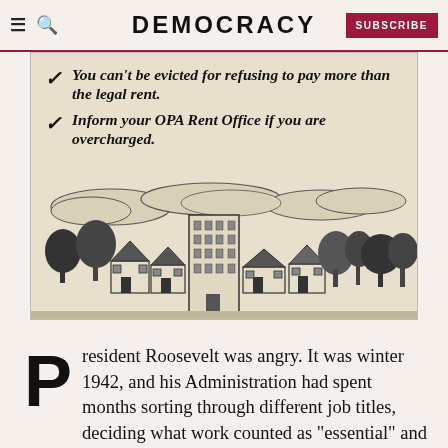DEMOCRACY | SUBSCRIBE
[Figure (illustration): A vintage OPA rent control poster showing two checklist items with checkmarks: 'You can't be evicted for refusing to pay more than the legal rent.' and 'Inform your OPA Rent Office if you are overcharged.' Below the text is a woodcut-style illustration of a cityscape with houses, trees, and tall buildings.]
You can't be evicted for refusing to pay more than the legal rent.
Inform your OPA Rent Office if you are overcharged.
President Roosevelt was angry. It was winter 1942, and his Administration had spent months sorting through different job titles, deciding what work counted as “essential” and what